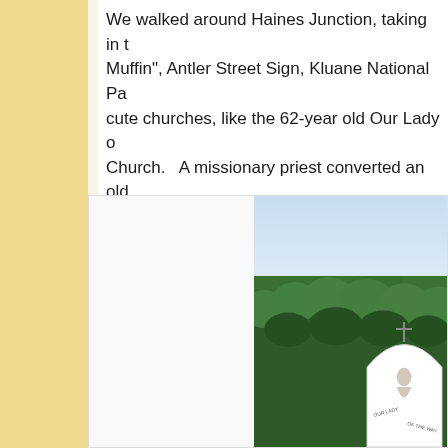We walked around Haines Junction, taking in the "World's Largest Muffin", Antler Street Sign, Kluane National Park sign, and cute churches, like the 62-year old Our Lady of the Way Catholic Church.   A missionary priest converted an old quonset hut from construction of the Alaska Highway into this simple but beautiful haven.
[Figure (photo): Photograph of a church (Our Lady of the Way) partially visible behind tall green trees against a light blue sky. The white arched church sign/facade is visible in the lower right corner of the image.]